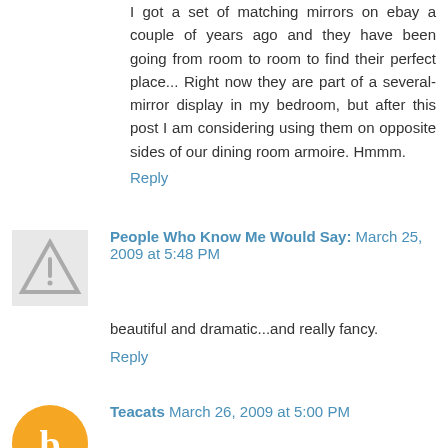I got a set of matching mirrors on ebay a couple of years ago and they have been going from room to room to find their perfect place... Right now they are part of a several-mirror display in my bedroom, but after this post I am considering using them on opposite sides of our dining room armoire. Hmmm.
Reply
People Who Know Me Would Say: March 25, 2009 at 5:48 PM
beautiful and dramatic...and really fancy.
Reply
Teacats March 26, 2009 at 5:00 PM
Fantastic posting and wonderful photos! Yes -- another fan of symmetry here -- there's something so pleasing about pairs that add such steady visual balance to any space. THEN another fantastic single element can be added in the middle (even a doorway!) and the classic trio is formed!